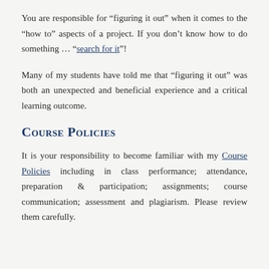You are responsible for “figuring it out” when it comes to the “how to” aspects of a project. If you don’t know how to do something … “search for it”!
Many of my students have told me that “figuring it out” was both an unexpected and beneficial experience and a critical learning outcome.
Course Policies
It is your responsibility to become familiar with my Course Policies including in class performance; attendance, preparation & participation; assignments; course communication; assessment and plagiarism. Please review them carefully.